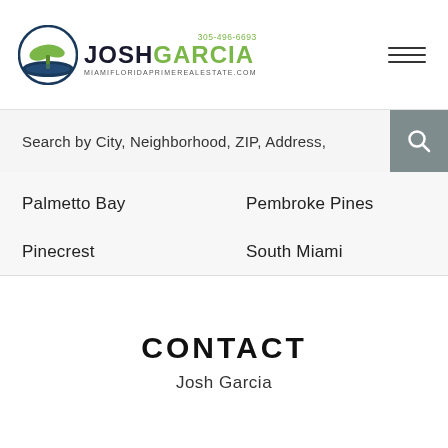305-496-6693 | JOSHGARCIA | MIAMIFLORIDAPRIMEREALESTATE.COM
Search by City, Neighborhood, ZIP, Address,
Palmetto Bay
Pembroke Pines
Pinecrest
South Miami
Sunny Isles Beach
Weston
West Miami
CONTACT
Josh Garcia